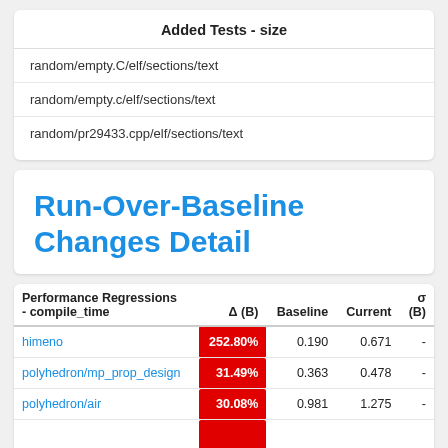Added Tests - size
random/empty.C/elf/sections/text
random/empty.c/elf/sections/text
random/pr29433.cpp/elf/sections/text
Run-Over-Baseline Changes Detail
| Performance Regressions - compile_time | Δ (B) | Baseline | Current | σ (B) |
| --- | --- | --- | --- | --- |
| himeno | 252.80% | 0.190 | 0.671 | - |
| polyhedron/mp_prop_design | 31.49% | 0.363 | 0.478 | - |
| polyhedron/air | 30.08% | 0.981 | 1.275 | - |